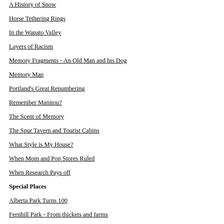A History of Snow
Horse Tethering Rings
In the Wapato Valley
Layers of Racism
Memory Fragments - An Old Man and his Dog
Memory Map
Portland's Great Renumbering
Remember Manitou?
The Scent of Memory
The Spur Tavern and Tourist Cabins
What Style is My House?
When Mom and Pop Stores Ruled
When Research Pays off
Special Places
Alberta Park Turns 100
Fernhill Park - From thickets and farms